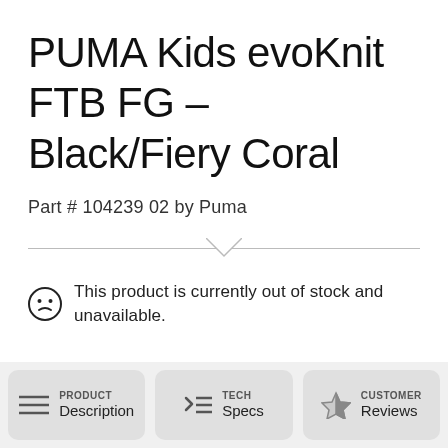PUMA Kids evoKnit FTB FG – Black/Fiery Coral
Part # 104239 02 by Puma
This product is currently out of stock and unavailable.
PRODUCT Description | TECH Specs | CUSTOMER Reviews